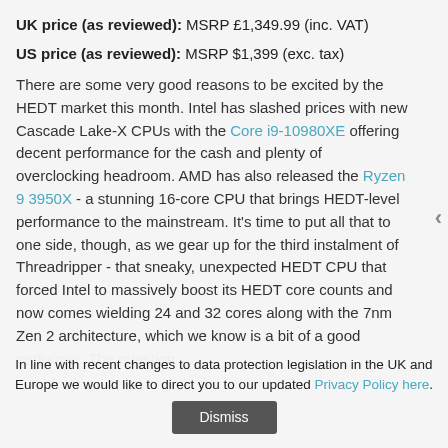UK price (as reviewed): MSRP £1,349.99 (inc. VAT)
US price (as reviewed): MSRP $1,399 (exc. tax)
There are some very good reasons to be excited by the HEDT market this month. Intel has slashed prices with new Cascade Lake-X CPUs with the Core i9-10980XE offering decent performance for the cash and plenty of overclocking headroom. AMD has also released the Ryzen 9 3950X - a stunning 16-core CPU that brings HEDT-level performance to the mainstream. It's time to put all that to one side, though, as we gear up for the third instalment of Threadripper - that sneaky, unexpected HEDT CPU that forced Intel to massively boost its HEDT core counts and now comes wielding 24 and 32 cores along with the 7nm Zen 2 architecture, which we know is a bit of a good performer. The question
In line with recent changes to data protection legislation in the UK and Europe we would like to direct you to our updated Privacy Policy here.
Dismiss